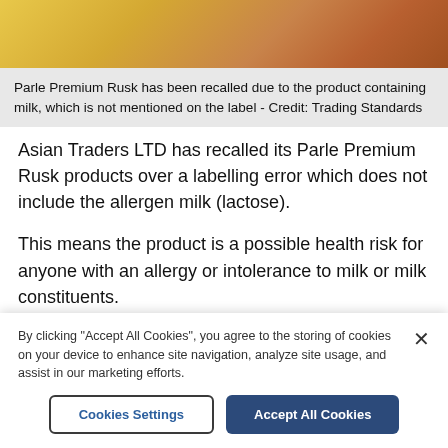[Figure (photo): Partial image of Parle Premium Rusk product packaging with warm orange/yellow tones, partially cropped at top of page]
Parle Premium Rusk has been recalled due to the product containing milk, which is not mentioned on the label - Credit: Trading Standards
Asian Traders LTD has recalled its Parle Premium Rusk products over a labelling error which does not include the allergen milk (lactose).
This means the product is a possible health risk for anyone with an allergy or intolerance to milk or milk constituents.
The product was sold at a number of specialist food...
By clicking "Accept All Cookies", you agree to the storing of cookies on your device to enhance site navigation, analyze site usage, and assist in our marketing efforts.